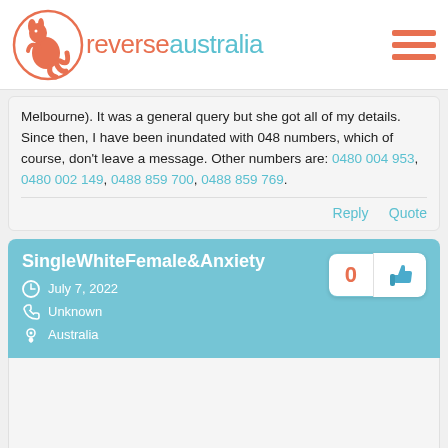reverseaustralia
Melbourne). It was a general query but she got all of my details. Since then, I have been inundated with 048 numbers, which of course, don't leave a message. Other numbers are: 0480 004 953, 0480 002 149, 0488 859 700, 0488 859 769.
Reply   Quote
SingleWhiteFemale&Anxiety
July 7, 2022
Unknown
Australia